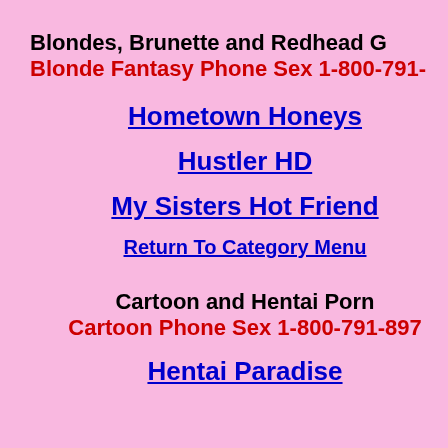Blondes, Brunette and Redhead G
Blonde Fantasy Phone Sex 1-800-791-
Hometown Honeys
Hustler HD
My Sisters Hot Friend
Return To Category Menu
Cartoon and Hentai Porn
Cartoon Phone Sex 1-800-791-897
Hentai Paradise